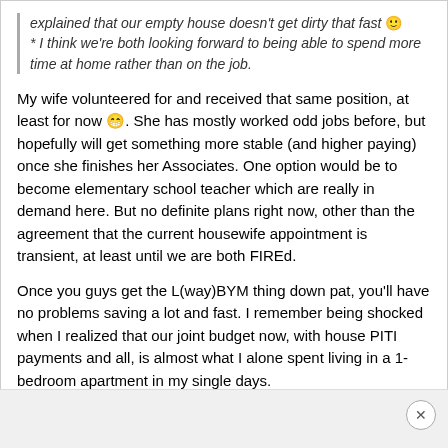explained that our empty house doesn't get dirty that fast 🙂 * I think we're both looking forward to being able to spend more time at home rather than on the job.
My wife volunteered for and received that same position, at least for now 😁. She has mostly worked odd jobs before, but hopefully will get something more stable (and higher paying) once she finishes her Associates. One option would be to become elementary school teacher which are really in demand here. But no definite plans right now, other than the agreement that the current housewife appointment is transient, at least until we are both FIREd.
Once you guys get the L(way)BYM thing down pat, you'll have no problems saving a lot and fast. I remember being shocked when I realized that our joint budget now, with house PITI payments and all, is almost what I alone spent living in a 1-bedroom apartment in my single days.